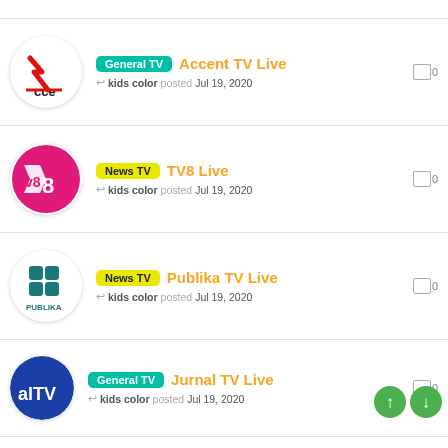General TV | Accent TV Live | kids color posted Jul 19, 2020 | 0 comments
News TV | TV8 Live | kids color posted Jul 19, 2020 | 0 comments
News TV | Publika TV Live | kids color posted Jul 19, 2020 | 0 comments
General TV | Jurnal TV Live | kids color posted Jul 19, 2020 | 0 comments